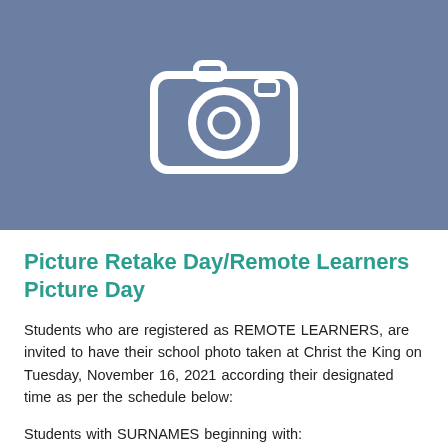[Figure (illustration): Camera icon on a blue-grey background representing Picture Day]
Picture Retake Day/Remote Learners Picture Day
Students who are registered as REMOTE LEARNERS, are invited to have their school photo taken at Christ the King on Tuesday, November 16, 2021 according their designated time as per the schedule below:
Students with SURNAMES beginning with: